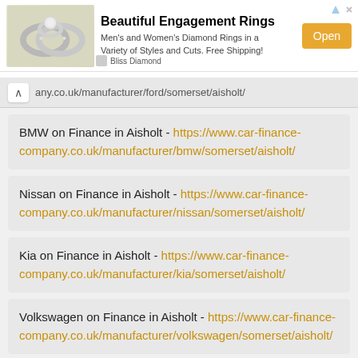[Figure (screenshot): Advertisement banner for Bliss Diamond featuring engagement rings photo, title 'Beautiful Engagement Rings', description text, and an Open button]
any.co.uk/manufacturer/ford/somerset/aisholt/
BMW on Finance in Aisholt - https://www.car-finance-company.co.uk/manufacturer/bmw/somerset/aisholt/
Nissan on Finance in Aisholt - https://www.car-finance-company.co.uk/manufacturer/nissan/somerset/aisholt/
Kia on Finance in Aisholt - https://www.car-finance-company.co.uk/manufacturer/kia/somerset/aisholt/
Volkswagen on Finance in Aisholt - https://www.car-finance-company.co.uk/manufacturer/volkswagen/somerset/aisholt/
Find Out More